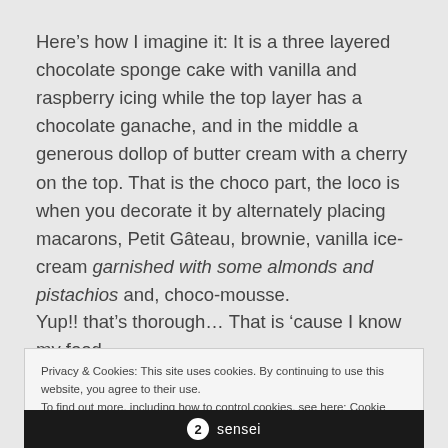Here’s how I imagine it: It is a three layered chocolate sponge cake with vanilla and raspberry icing while the top layer has a chocolate ganache, and in the middle a generous dollop of butter cream with a cherry on the top. That is the choco part, the loco is when you decorate it by alternately placing macarons, Petit Gâteau, brownie, vanilla ice-cream garnished with some almonds and pistachios and, choco-mousse.
Yup!! that’s thorough… That is ‘cause I know my food.
Privacy & Cookies: This site uses cookies. By continuing to use this website, you agree to their use.
To find out more, including how to control cookies, see here: Cookie Policy
sensei